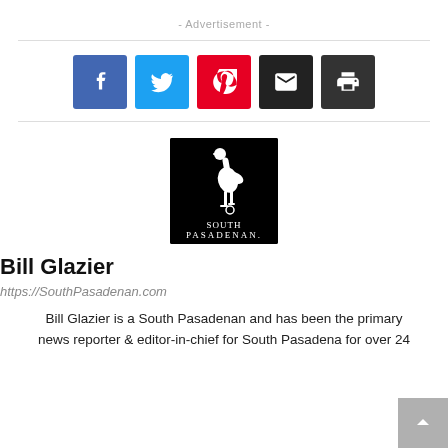- Advertisement -
[Figure (infographic): Social share buttons: Facebook (blue), Twitter (cyan), Pinterest (red), Email (dark), Print (dark)]
[Figure (logo): South Pasadenan logo — white ostrich/bird figure with 'South Pasadenan' text on black background]
Bill Glazier
https://SouthPasadenan.com
Bill Glazier is a South Pasadenan and has been the primary news reporter & editor-in-chief for South Pasadena for over 24